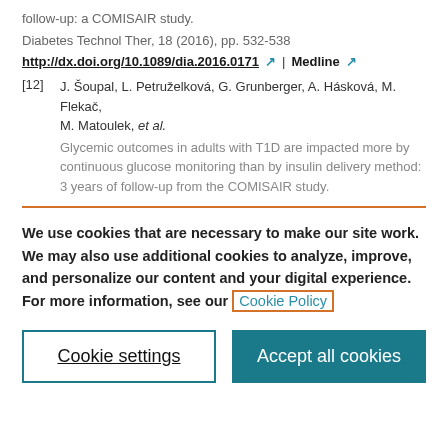follow-up: a COMISAIR study.
Diabetes Technol Ther, 18 (2016), pp. 532-538
http://dx.doi.org/10.1089/dia.2016.0171 ↗ | Medline ↗
[12] J. Šoupal, L. Petruželková, G. Grunberger, A. Hásková, M. Flekač, M. Matoulek, et al.
Glycemic outcomes in adults with T1D are impacted more by continuous glucose monitoring than by insulin delivery method: 3 years of follow-up from the COMISAIR study.
We use cookies that are necessary to make our site work. We may also use additional cookies to analyze, improve, and personalize our content and your digital experience. For more information, see our Cookie Policy
Cookie settings
Accept all cookies